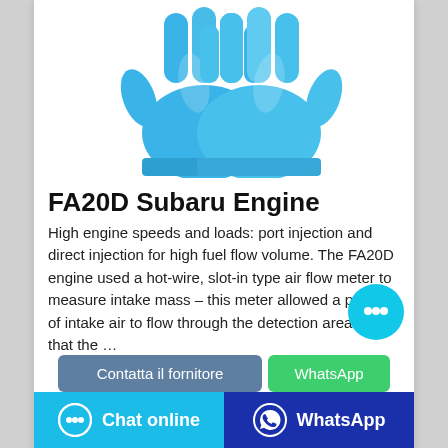[Figure (photo): Two blue nitrile disposable gloves on white background]
FA20D Subaru Engine
High engine speeds and loads: port injection and direct injection for high fuel flow volume. The FA20D engine used a hot-wire, slot-in type air flow meter to measure intake mass – this meter allowed a portion of intake air to flow through the detection area so that the …
[Figure (other): Cyan circular chat bubble icon button (floating action button)]
Contatta il fornitore
WhatsApp
Chat online   WhatsApp